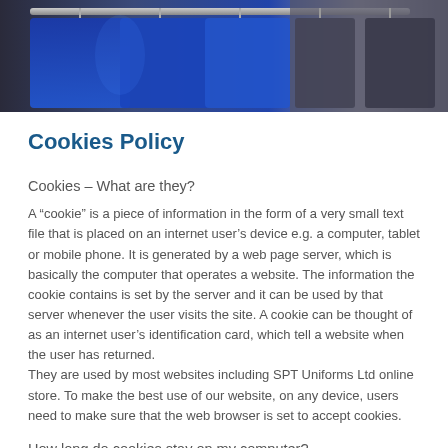[Figure (photo): Hero banner image showing blue uniforms/clothing hanging on racks in a store or warehouse setting.]
Cookies Policy
Cookies – What are they?
A “cookie” is a piece of information in the form of a very small text file that is placed on an internet user’s device e.g. a computer, tablet or mobile phone. It is generated by a web page server, which is basically the computer that operates a website. The information the cookie contains is set by the server and it can be used by that server whenever the user visits the site. A cookie can be thought of as an internet user’s identification card, which tell a website when the user has returned.
They are used by most websites including SPT Uniforms Ltd online store. To make the best use of our website, on any device, users need to make sure that the web browser is set to accept cookies.
How long do cookies stay on my computer?
Session Cookies